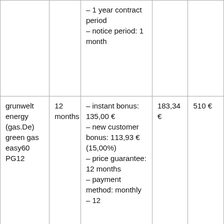|  |  | – 1 year contract period
– notice period: 1 month |  |  |
| grunwelt energy (gas.De) green gas easy60 PG12 | 12 months | – instant bonus: 135,00 €
– new customer bonus: 113,93 € (15,00%)
– price guarantee: 12 months
– payment method: monthly
– 12 | 183,34 € | 510 € |